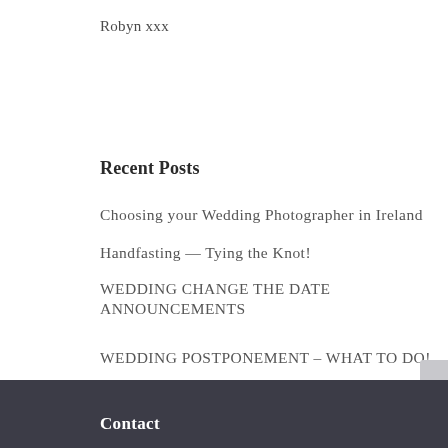Robyn xxx
Recent Posts
Choosing your Wedding Photographer in Ireland
Handfasting — Tying the Knot!
WEDDING CHANGE THE DATE ANNOUNCEMENTS
WEDDING POSTPONEMENT – WHAT TO DO!
Wedding Planner of the Year 2019!
Contact